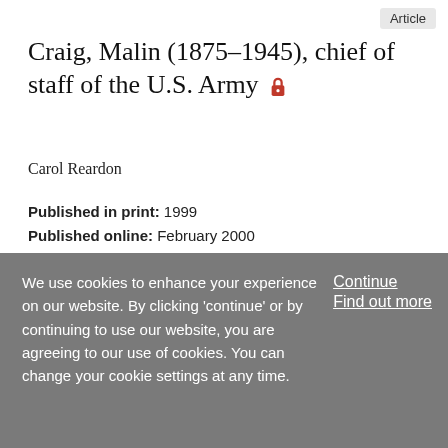Article
Craig, Malin (1875–1945), chief of staff of the U.S. Army 🔒
Carol Reardon
Published in print: 1999
Published online: February 2000
Craig, Malin (05 August 1875–25 July 1945), chief of staff of the U.S. Army, was born in St. Joseph, Missouri, the son of Louis Aleck Craig, an army officer, and Georgie Malin. Craig's youth was typical of children in army families, moving frequently to new posts in Kansas, Arizona, and New Mexico.
We use cookies to enhance your experience on our website. By clicking 'continue' or by continuing to use our website, you are agreeing to our use of cookies. You can change your cookie settings at any time.